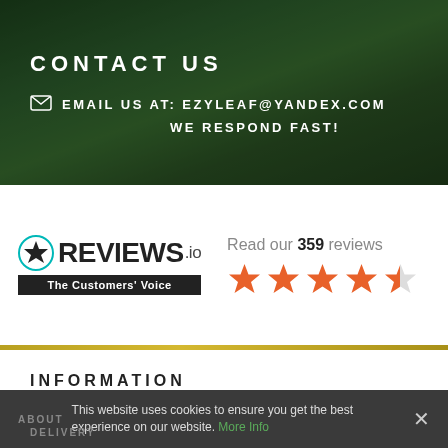CONTACT US
EMAIL US AT: EZYLEAF@YANDEX.COM
WE RESPOND FAST!
[Figure (logo): REVIEWS.io logo with star icon, The Customers' Voice tagline in black banner, and 4.5 star rating with 'Read our 359 reviews' text]
INFORMATION
This website uses cookies to ensure you get the best experience on our website. More Info
ABOUT
DELIVERY